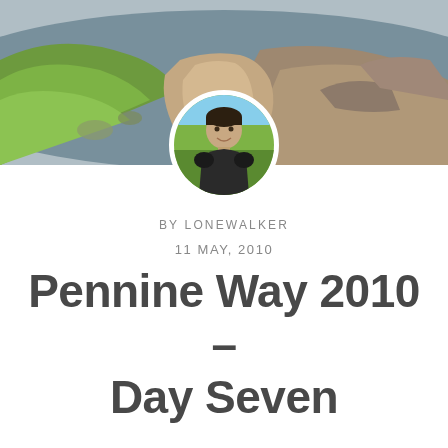[Figure (photo): Landscape hero photo showing a mountain trail with green grass on the left and rocky/earthen path through the center, blue sky in background]
[Figure (photo): Circular avatar portrait of a man smiling, wearing dark clothing, outdoors background]
BY LONEWALKER
11 MAY, 2010
Pennine Way 2010 – Day Seven
pennine way